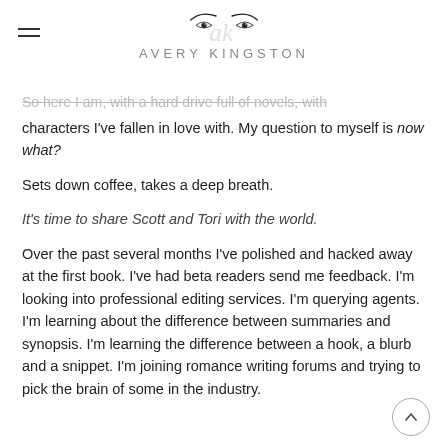AVERY KINGSTON
So here I am, with a hard drive full of novels, with characters I've fallen in love with. My question to myself is now what?
Sets down coffee, takes a deep breath.
It's time to share Scott and Tori with the world.
Over the past several months I've polished and hacked away at the first book. I've had beta readers send me feedback. I'm looking into professional editing services. I'm querying agents. I'm learning about the difference between summaries and synopsis. I'm learning the difference between a hook, a blurb and a snippet. I'm joining romance writing forums and trying to pick the brain of some in the industry.